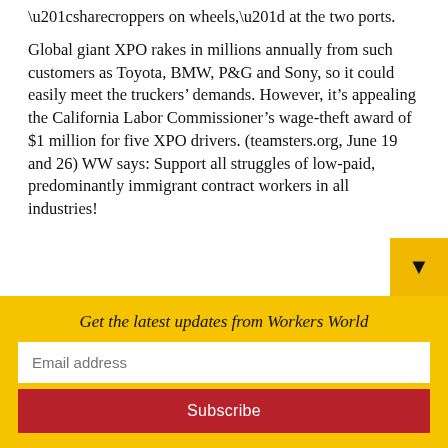“sharecroppers on wheels,” at the two ports.
Global giant XPO rakes in millions annually from such customers as Toyota, BMW, P&G and Sony, so it could easily meet the truckers’ demands. However, it’s appealing the California Labor Commissioner’s wage-theft award of $1 million for five XPO drivers. (teamsters.org, June 19 and 26) WW says: Support all struggles of low-paid, predominantly immigrant contract workers in all industries!
Get the latest updates from Workers World
Email address
Subscribe